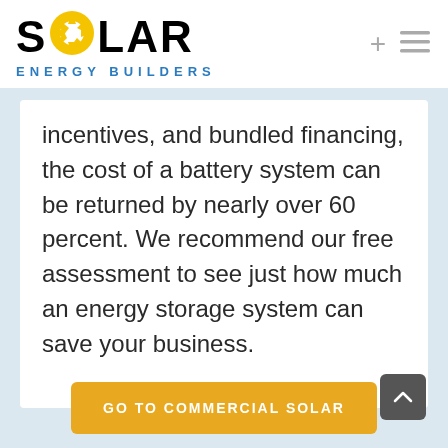[Figure (logo): Solar Energy Builders logo with sun icon made of yellow triangles inside letter O, black bold text SOLAR, blue text ENERGY BUILDERS below]
incentives, and bundled financing, the cost of a battery system can be returned by nearly over 60 percent. We recommend our free assessment to see just how much an energy storage system can save your business.
GO TO COMMERCIAL SOLAR